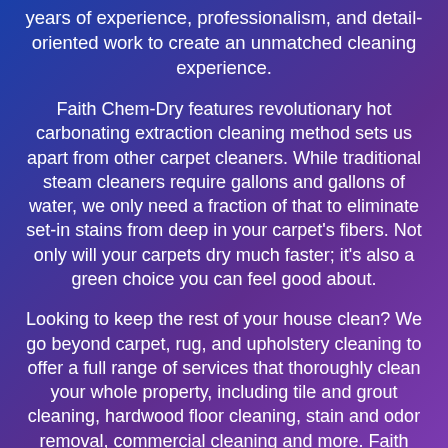years of experience, professionalism, and detail-oriented work to create an unmatched cleaning experience.
Faith Chem-Dry features revolutionary hot carbonating extraction cleaning method sets us apart from other carpet cleaners. While traditional steam cleaners require gallons and gallons of water, we only need a fraction of that to eliminate set-in stains from deep in your carpet's fibers. Not only will your carpets dry much faster; it's also a green choice you can feel good about.
Looking to keep the rest of your house clean? We go beyond carpet, rug, and upholstery cleaning to offer a full range of services that thoroughly clean your whole property, including tile and grout cleaning, hardwood floor cleaning, stain and odor removal, commercial cleaning and more. Faith Chem-Dry is the go-to source for keeping your home clean!
Homeowners know that Faith Chem-Dry delivers a